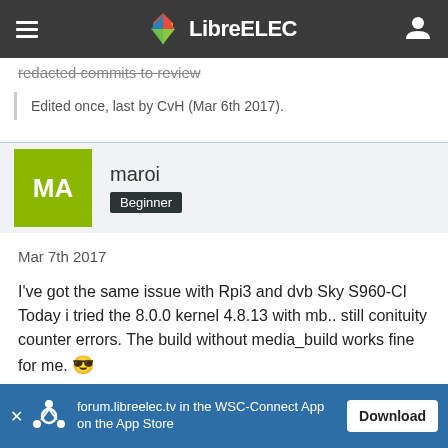LibreELEC
redacted commits to review
Edited once, last by CvH (Mar 6th 2017).
maroi
Beginner
Mar 7th 2017
I've got the same issue with Rpi3 and dvb Sky S960-CI Today i tried the 8.0.0 kernel 4.8.13 with mb.. still conituity counter errors. The build without media_build works fine for me.
forum.libreelec.tv in the WSC-Connect App on the App Store
Download